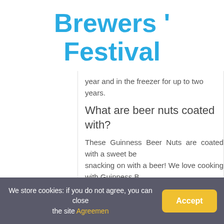Brewers ' Festival
year and in the freezer for up to two years.
What are beer nuts coated with?
These Guinness Beer Nuts are coated with a sweet be... snacking on with a beer! We love cooking with Guinness B...
Alan Henry   Beer   No Comme...
← Quick Answer: How To Get Beer Off Your Breath?
We store cookies: if you do not agree, you can close the site Agreemen